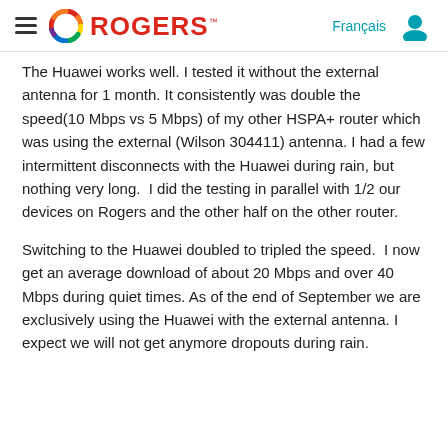Rogers — Français [navigation header]
The Huawei works well. I tested it without the external antenna for 1 month. It consistently was double the speed(10 Mbps vs 5 Mbps) of my other HSPA+ router which was using the external (Wilson 304411) antenna. I had a few intermittent disconnects with the Huawei during rain, but nothing very long.  I did the testing in parallel with 1/2 our devices on Rogers and the other half on the other router.
Switching to the Huawei doubled to tripled the speed.  I now get an average download of about 20 Mbps and over 40 Mbps during quiet times. As of the end of September we are exclusively using the Huawei with the external antenna. I expect we will not get anymore dropouts during rain.